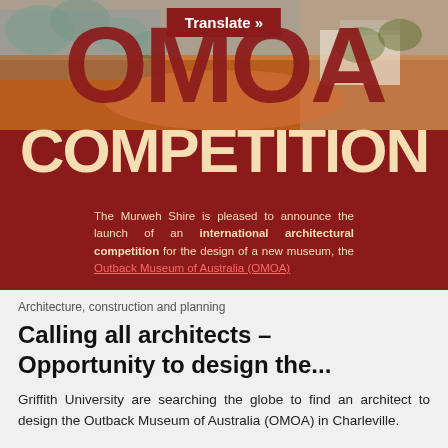[Figure (illustration): Red outback landscape photo with large OMOA letters overlaid in dark red, COMPETITION text below in cream/wheat color, and descriptive text about international architectural competition. A 'Translate »' button appears at the top center.]
Architecture, construction and planning
Calling all architects – Opportunity to design the...
Griffith University are searching the globe to find an architect to design the Outback Museum of Australia (OMOA) in Charleville.